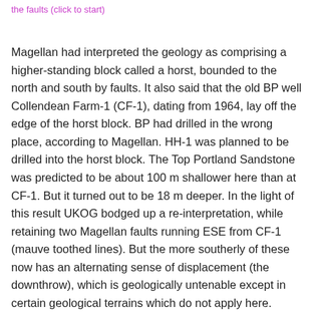the faults (click to start)
Magellan had interpreted the geology as comprising a higher-standing block called a horst, bounded to the north and south by faults. It also said that the old BP well Collendean Farm-1 (CF-1), dating from 1964, lay off the edge of the horst block. BP had drilled in the wrong place, according to Magellan. HH-1 was planned to be drilled into the horst block. The Top Portland Sandstone was predicted to be about 100 m shallower here than at CF-1. But it turned out to be 18 m deeper. In the light of this result UKOG bodged up a re-interpretation, while retaining two Magellan faults running ESE from CF-1 (mauve toothed lines). But the more southerly of these now has an alternating sense of displacement (the downthrow), which is geologically untenable except in certain geological terrains which do not apply here. Going from west to east, the fault downthrows to